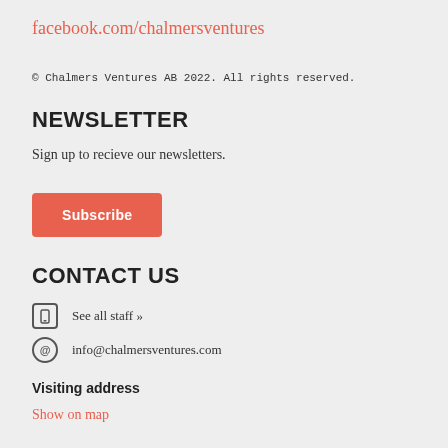facebook.com/chalmersventures
© Chalmers Ventures AB 2022. All rights reserved.
NEWSLETTER
Sign up to recieve our newsletters.
Subscribe
CONTACT US
See all staff »
info@chalmersventures.com
Visiting address
Show on map